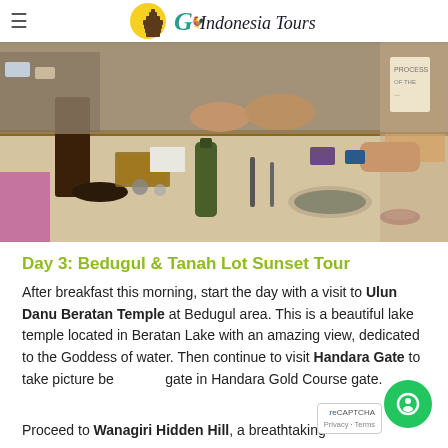Go Indonesia Tours
[Figure (photo): People working at a craft/jewelry making table with tools, materials, bottles, and small bowls spread on a stone surface]
Day 3: Bedugul & Tanah Lot Sunset Tour
After breakfast this morning, start the day with a visit to Ulun Danu Beratan Temple at Bedugul area. This is a beautiful lake temple located in Beratan Lake with an amazing view, dedicated to the Goddess of water. Then continue to visit Handara Gate to take picture before the gate in Handara Gold Course gate.
Proceed to Wanagiri Hidden Hill, a breathtaking